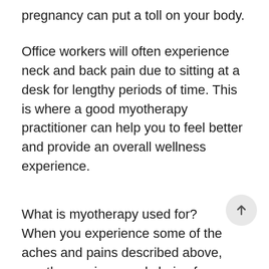pregnancy can put a toll on your body.
Office workers will often experience neck and back pain due to sitting at a desk for lengthy periods of time. This is where a good myotherapy practitioner can help you to feel better and provide an overall wellness experience.
What is myotherapy used for?
When you experience some of the aches and pains described above, myotherapy is a good choice for relieving tension, improving overall muscle movement and treating injuries. Depending on your personal circumstances, a physiotherapist or other